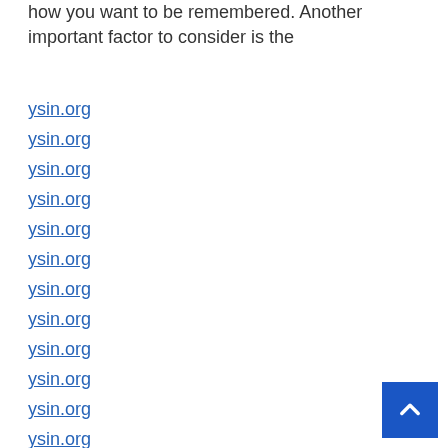how you want to be remembered. Another important factor to consider is the
ysin.org
ysin.org
ysin.org
ysin.org
ysin.org
ysin.org
ysin.org
ysin.org
ysin.org
ysin.org
ysin.org
ysin.org
ysin.org
ysin.org